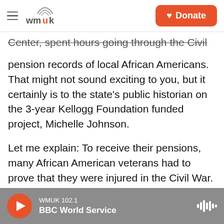WMUK logo and navigation header with Donate button
Center, spent hours going through the Civil War pension records of local African Americans. That might not sound exciting to you, but it certainly is to the state's public historian on the 3-year Kellogg Foundation funded project, Michelle Johnson.
Let me explain: To receive their pensions, many African American veterans had to prove that they were injured in the Civil War. That claim had to be verified in first-hand accounts by other veterans, coworkers, or neighbors. As a result, these records are about as juicy as you can get. They have it all - anecdotes, medical histories, finances, and stuff you might see on your favorite soap opera.
WMUK 102.1  BBC World Service